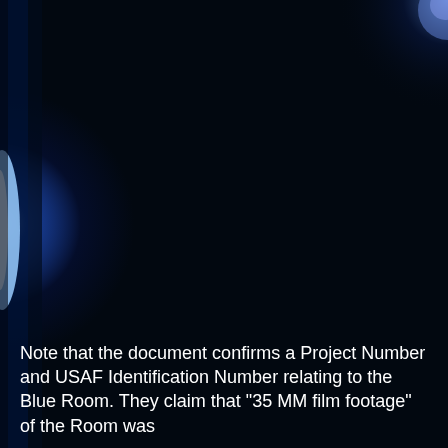[Figure (photo): Dark, nearly black background image with deep navy/dark blue tones. On the left edge there is a vertical strip with a glowing bright blue-white light reflection or reflection artifact. The upper right corner also shows a faint blue-white glow. The overall image appears to be a very dark photograph, possibly a room or space with minimal lighting.]
Note that the document confirms a Project Number and USAF Identification Number relating to the Blue Room. They claim that "35 MM film footage" of the Room was